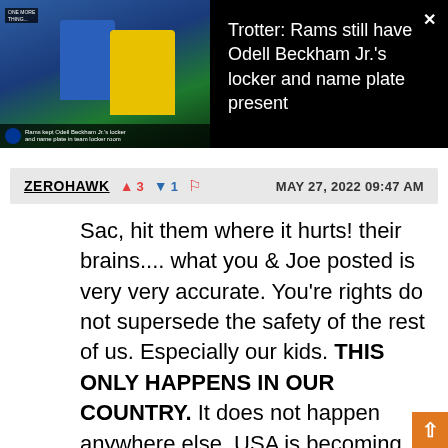[Figure (screenshot): Video thumbnail showing Los Angeles Rams football players in blue and gold uniforms, with a news chyron overlay reading 'Rams kept Odell Beckham Jr.'s locker and name plate in team locker room']
Trotter: Rams still have Odell Beckham Jr.'s locker and name plate present
ZEROHAWK  ▲3  ▼1  🚩  MAY 27, 2022 09:47 AM
Sac, hit them where it hurts! their brains.... what you & Joe posted is very very accurate. You're rights do not supersede the safety of the rest of us. Especially our kids. THIS ONLY HAPPENS IN OUR COUNTRY. It does not happen anywhere else. USA is becoming more and more unstable and unsafe. Fact. There are third world nations that I have been to, that talk about how dangerous it is visting USA. no joke. Even in UKR i was asked about the